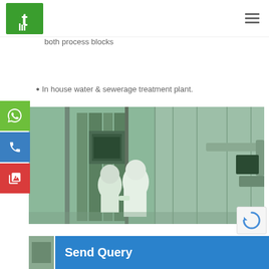[Figure (logo): Green logo with white icon resembling a road/path symbol]
Automated access control system and fully equipped areas
gate entry and exit for man, material and service personnel for both process blocks
In house water & sewerage treatment plant.
[Figure (photo): Workers in white cleanroom suits operating industrial pharmaceutical/chemical processing equipment in a facility with green-tinted glass and piping systems]
Send Query